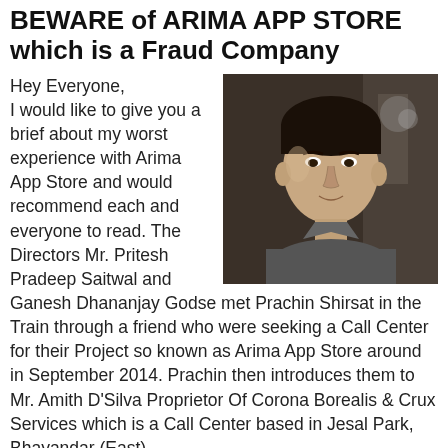BEWARE of ARIMA APP STORE which is a Fraud Company
[Figure (photo): Photo of a young man, headshot, dark background]
Hey Everyone,
I would like to give you a brief about my worst experience with Arima App Store and would recommend each and everyone to read. The Directors Mr. Pritesh Pradeep Saitwal and Ganesh Dhananjay Godse met Prachin Shirsat in the Train through a friend who were seeking a Call Center for their Project so known as Arima App Store around in September 2014. Prachin then introduces them to Mr. Amith D'Silva Proprietor Of Corona Borealis & Crux Services which is a Call Center based in Jesal Park, Bhayandar (East).
Mr. Ganesh Godse & Mr. Pritesh Saitwal from Arima App Store wanted the calling to